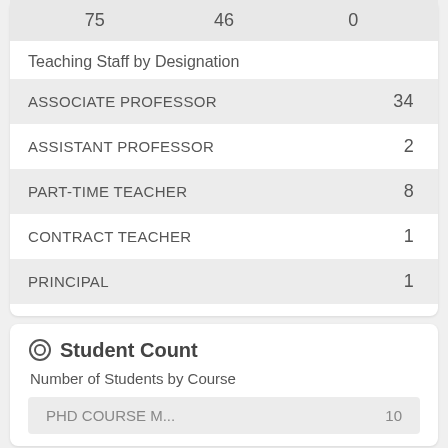|  |  |  |
| --- | --- | --- |
| 75 | 46 | 0 |
Teaching Staff by Designation
| Designation | Count |
| --- | --- |
| ASSOCIATE PROFESSOR | 34 |
| ASSISTANT PROFESSOR | 2 |
| PART-TIME TEACHER | 8 |
| CONTRACT TEACHER | 1 |
| PRINCIPAL | 1 |
Student Count
Number of Students by Course